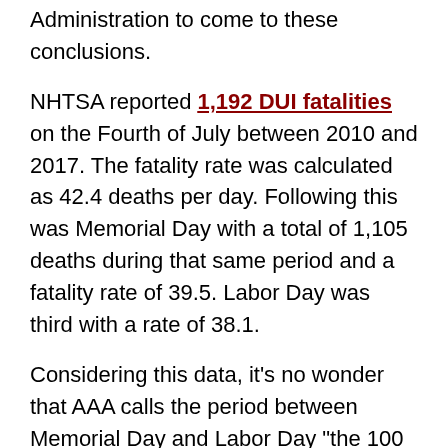Administration to come to these conclusions.
NHTSA reported 1,192 DUI fatalities on the Fourth of July between 2010 and 2017. The fatality rate was calculated as 42.4 deaths per day. Following this was Memorial Day with a total of 1,105 deaths during that same period and a fatality rate of 39.5. Labor Day was third with a rate of 38.1.
Considering this data, it's no wonder that AAA calls the period between Memorial Day and Labor Day "the 100 deadliest days of summer." The Fourth of July weekend is deadlier than any equivalent span of summer days. During the holiday weekend, the risk for a fatal DUI crash goes up 57%.
The Fourth of July leads to more DUI fatalities when it is on a Wednesday than any other day. The...